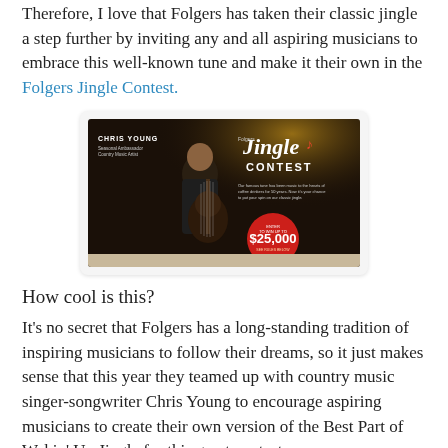Therefore, I love that Folgers has taken their classic jingle a step further by inviting any and all aspiring musicians to embrace this well-known tune and make it their own in the Folgers Jingle Contest.
[Figure (photo): A promotional image for the Folgers Jingle Contest featuring country music artist Chris Young playing guitar in a dark setting, with text overlay reading 'Jingle CONTEST' and a red circle badge showing '$25,000']
How cool is this?
It's no secret that Folgers has a long-standing tradition of inspiring musicians to follow their dreams, so it just makes sense that this year they teamed up with country music singer-songwriter Chris Young to encourage aspiring musicians to create their own version of the Best Part of Wakin' Up Jingle for this great contest.